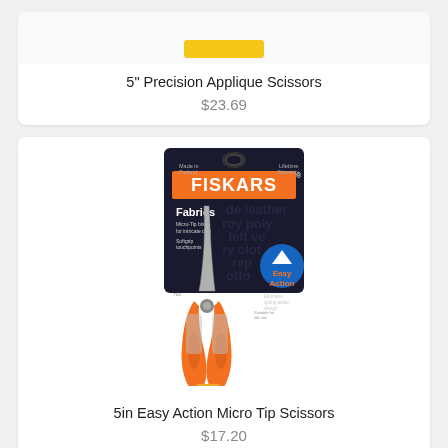[Figure (photo): Top portion of a product card showing a yellow button, partially visible product image - 5 inch Precision Applique Scissors]
5" Precision Applique Scissors
$23.69
[Figure (photo): Fiskars 5in Easy Action Micro Tip Scissors product photo showing orange-handled scissors with product packaging card labeled FISKARS Fabrics, Micro-Tip blade for intricate cuts, Easy Action spring-action design]
5in Easy Action Micro Tip Scissors
$17.20